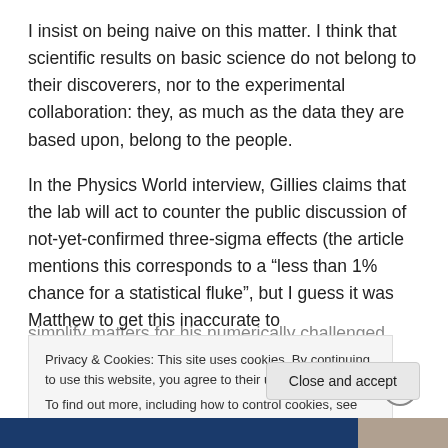I insist on being naive on this matter. I think that scientific results on basic science do not belong to their discoverers, nor to the experimental collaboration: they, as much as the data they are based upon, belong to the people.
In the Physics World interview, Gillies claims that the lab will act to counter the public discussion of not-yet-confirmed three-sigma effects (the article  mentions this corresponds to a “less than 1% chance for a statistical fluke”, but I guess it was Matthew to get this inaccurate to simplify matters for his numerically challenged audience
Privacy & Cookies: This site uses cookies. By continuing to use this website, you agree to their use.
To find out more, including how to control cookies, see here: Cookie Policy